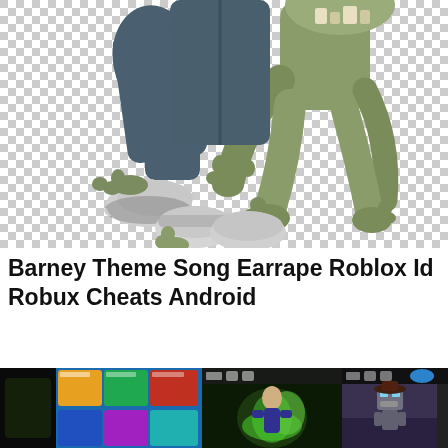[Figure (illustration): A cartoon zombie character from Plants vs. Zombies shown from the torso down, with green rotting hands and feet, wearing jeans and sneakers, on a transparent (checkered) background.]
Barney Theme Song Earrape Roblox Id Robux Cheats Android
[Figure (photo): A dark thumbnail on the far left.]
[Figure (screenshot): A screenshot showing a grid of Roblox game thumbnails on a blue background.]
[Figure (screenshot): A screenshot of a Roblox game showing an action character with green energy effects, with icon bar at top.]
[Figure (screenshot): A screenshot of a Roblox game showing a robot/cowboy character in an indoor scene, with icon bar at top.]
[Figure (screenshot): Partial screenshot at the far right edge.]